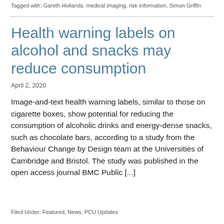Tagged with: Gareth Hollands, medical imaging, risk information, Simon Griffin
Health warning labels on alcohol and snacks may reduce consumption
April 2, 2020
Image-and-text health warning labels, similar to those on cigarette boxes, show potential for reducing the consumption of alcoholic drinks and energy-dense snacks, such as chocolate bars, according to a study from the Behaviour Change by Design team at the Universities of Cambridge and Bristol. The study was published in the open access journal BMC Public [...]
Filed Under: Featured, News, PCU Updates